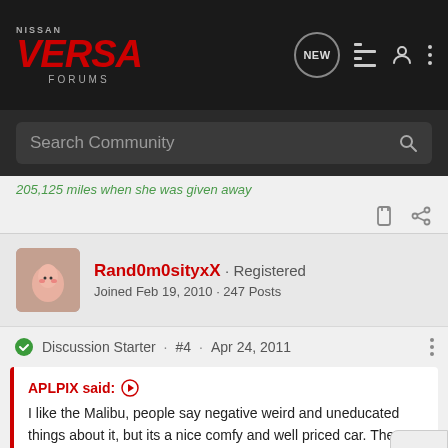NISSAN VERSA FORUMS
Search Community
205,125 miles when she was given away
Rand0m0sityxX · Registered
Joined Feb 19, 2010 · 247 Posts
Discussion Starter · #4 · Apr 24, 2011
APLPIX said: ↑
I like the Malibu, people say negative weird and uneducated things about it, but its a nice comfy and well priced car. The new one looks promising, but the competition is fierce, Accord, Altima, Camry, Sonata, Optima, Fusion, etc.